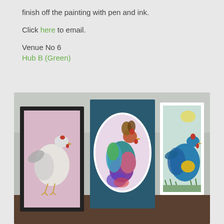finish off the painting with pen and ink.
Click here to email.
Venue No 6
Hub B (Green)
[Figure (photo): Three framed watercolour paintings of chickens/roosters displayed on a dark wooden surface against a grey wall. Left: white chicken on pink background in black frame. Centre: colourful rooster in oval mount on dark blue card. Right: blue/teal rooster on light background in white frame.]